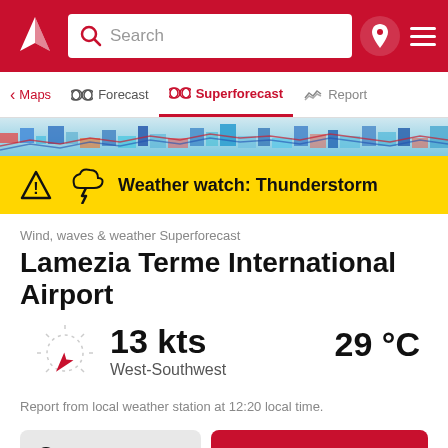[Figure (screenshot): Red navigation header with Windy logo, search bar, location pin icon, and hamburger menu]
[Figure (other): Navigation tab bar with Maps, Forecast, Superforecast (active), and Report tabs]
[Figure (other): Weather chart strip showing colorful wind/wave data visualization]
Weather watch: Thunderstorm
Wind, waves & weather Superforecast
Lamezia Terme International Airport
13 kts
West-Southwest
29 °C
Report from local weather station at 12:20 local time.
View spot details
Save